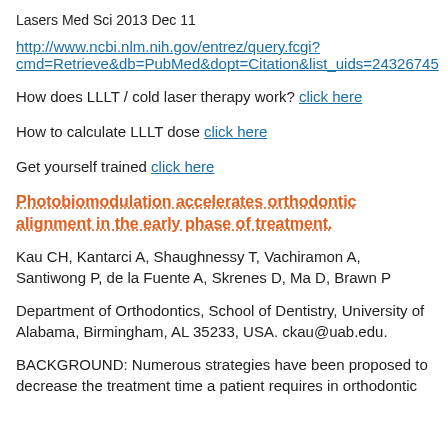Lasers Med Sci 2013 Dec 11
http://www.ncbi.nlm.nih.gov/entrez/query.fcgi?cmd=Retrieve&db=PubMed&dopt=Citation&list_uids=24326745
How does LLLT / cold laser therapy work? click here
How to calculate LLLT dose click here
Get yourself trained click here
Photobiomodulation accelerates orthodontic alignment in the early phase of treatment.
Kau CH, Kantarci A, Shaughnessy T, Vachiramon A, Santiwong P, de la Fuente A, Skrenes D, Ma D, Brawn P
Department of Orthodontics, School of Dentistry, University of Alabama, Birmingham, AL 35233, USA. ckau@uab.edu.
BACKGROUND: Numerous strategies have been proposed to decrease the treatment time a patient requires in orthodontic